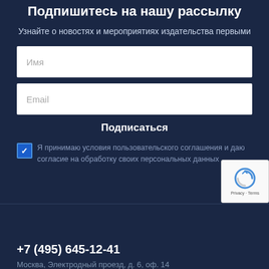Подпишитесь на нашу рассылку
Узнайте о новостях и мероприятиях издательства первыми
Имя
Email
Подписаться
Я принимаю условия пользовательского соглашения и даю согласие на обработку своих персональных данных
+7 (495) 645-12-41
Москва, Электродный проезд, д. 6, оф. 14